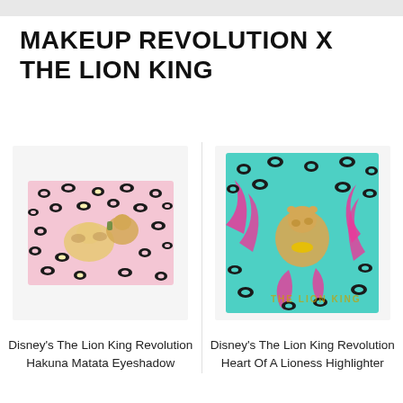MAKEUP REVOLUTION X THE LION KING
[Figure (photo): Makeup Revolution x The Lion King Hakuna Matata Eyeshadow palette — pink background with black leopard print pattern and cartoon lion characters]
Disney's The Lion King Revolution Hakuna Matata Eyeshadow
[Figure (photo): Makeup Revolution x The Lion King Heart Of A Lioness Highlighter — turquoise background with pink and black leopard print and cartoon lion character]
Disney's The Lion King Revolution Heart Of A Lioness Highlighter